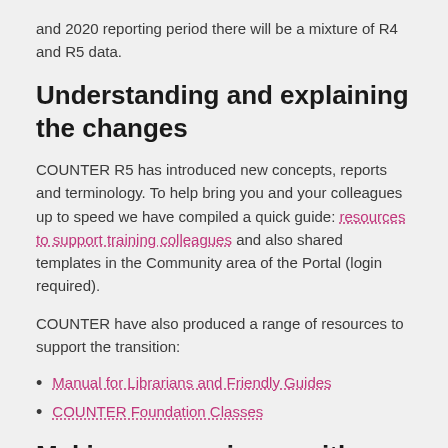and 2020 reporting period there will be a mixture of R4 and R5 data.
Understanding and explaining the changes
COUNTER R5 has introduced new concepts, reports and terminology. To help bring you and your colleagues up to speed we have compiled a quick guide: resources to support training colleagues and also shared templates in the Community area of the Portal (login required).
COUNTER have also produced a range of resources to support the transition:
Manual for Librarians and Friendly Guides
COUNTER Foundation Classes
Making comparisons with previous